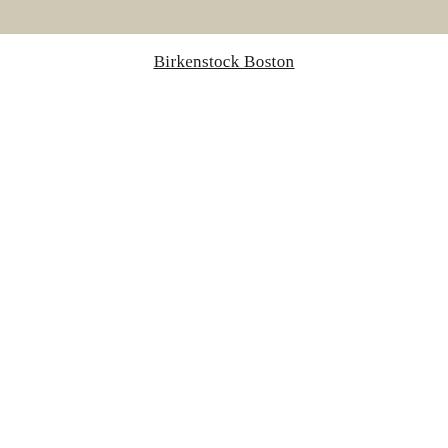[Figure (photo): Beige/tan colored banner image at the top of the page, likely showing a product or background texture.]
Birkenstock Boston